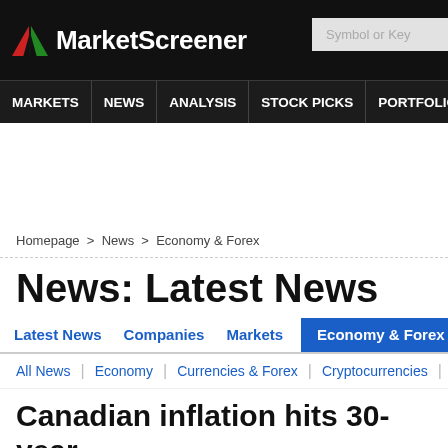[Figure (logo): MarketScreener logo with red and green arrow icon on black header bar, with search box showing 'Symbol or Key']
MARKETS | NEWS | ANALYSIS | STOCK PICKS | PORTFOLIOS | WATCHLI
Homepage > News > Economy & Forex
News: Latest News
Latest News   Companies   Markets   Economy & Forex   Commoditi
All News | Economy | Currencies & Forex | Cryptocurrencies | Cybe
Canadian inflation hits 30-year chance of early rate hike